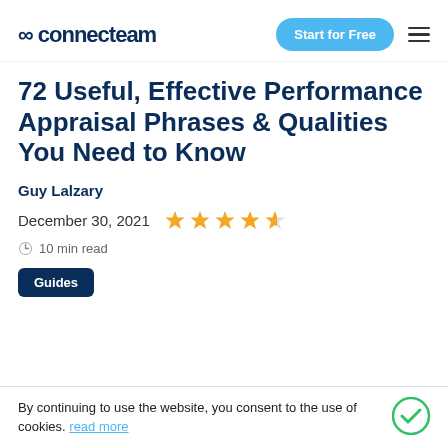connecteam | Start for Free
72 Useful, Effective Performance Appraisal Phrases & Qualities You Need to Know
Guy Lalzary
December 30, 2021  ★★★★½
🕐 10 min read
Guides
By continuing to use the website, you consent to the use of cookies. read more